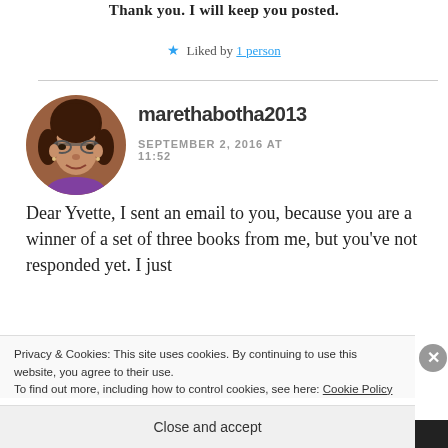Thank you. I will keep you posted.
★ Liked by 1 person
marethabotha2013
SEPTEMBER 2, 2016 AT 11:52
Dear Yvette, I sent an email to you, because you are a winner of a set of three books from me, but you've not responded yet. I just
Privacy & Cookies: This site uses cookies. By continuing to use this website, you agree to their use.
To find out more, including how to control cookies, see here: Cookie Policy
Close and accept